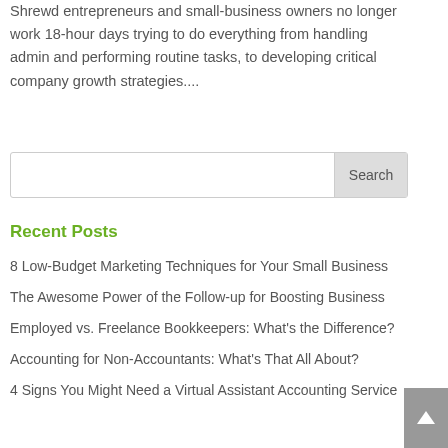Shrewd entrepreneurs and small-business owners no longer work 18-hour days trying to do everything from handling admin and performing routine tasks, to developing critical company growth strategies....
[Figure (other): Search input box with a Search button]
Recent Posts
8 Low-Budget Marketing Techniques for Your Small Business
The Awesome Power of the Follow-up for Boosting Business
Employed vs. Freelance Bookkeepers: What’s the Difference?
Accounting for Non-Accountants: What’s That All About?
4 Signs You Might Need a Virtual Assistant Accounting Service